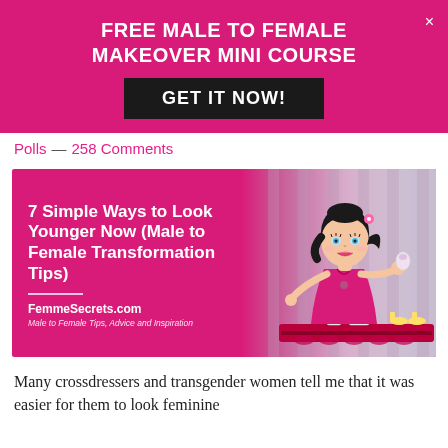FREE MALE TO FEMALE MAKEOVER MINI COURSE
GET IT NOW!
Polls — 258 Comments
[Figure (illustration): Article banner image with magenta/pink background, white bold text reading '7 Simple Ways to Look Younger Now (Male to Female Transformation Tips)' on the left, and a cartoon illustration of a stylized woman with black hair wearing a pink dress on the right. Below the title text: a horizontal divider, 'FemmeSecrets.com', and 'Male to Female Tips, Advice and Inspiration'.]
Many crossdressers and transgender women tell me that it was easier for them to look feminine